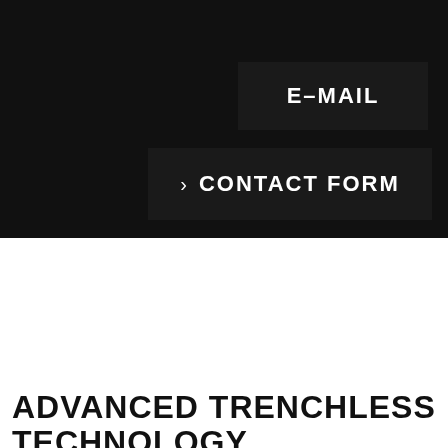[Figure (screenshot): Dark black background section showing two dark boxes: one labeled 'E-MAIL' and another larger one labeled '> CONTACT FORM', both with white bold text on a nearly black background.]
ADVANCED TRENCHLESS TECHNOLOGY